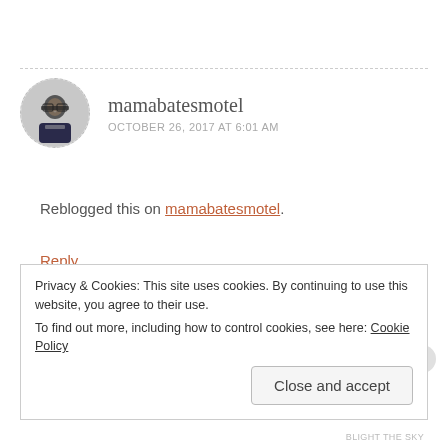[Figure (photo): Avatar photo of a man in a suit wearing glasses, displayed in a dashed circular border]
mamabatesmotel
OCTOBER 26, 2017 AT 6:01 AM
Reblogged this on mamabatesmotel.
Reply
Pingback: Sichuan Wontons in Chili Oil Sauce – Happy Lunar New Year!!!
Privacy & Cookies: This site uses cookies. By continuing to use this website, you agree to their use.
To find out more, including how to control cookies, see here: Cookie Policy
Close and accept